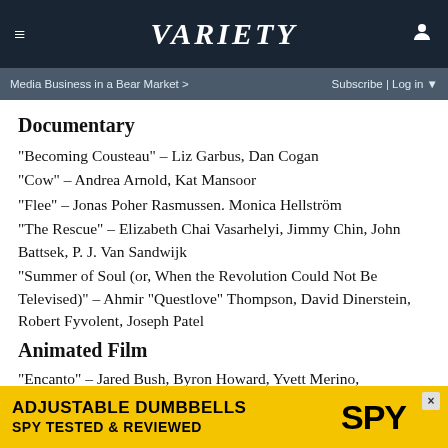≡  VARIETY  👤
Media Business in a Bear Market >   Subscribe | Log in ▼
Documentary
“Becoming Cousteau” – Liz Garbus, Dan Cogan
“Cow” – Andrea Arnold, Kat Mansoor
“Flee” – Jonas Poher Rasmussen. Monica Hellström
“The Rescue” – Elizabeth Chai Vasarhelyi, Jimmy Chin, John Battsek, P. J. Van Sandwijk
“Summer of Soul (or, When the Revolution Could Not Be Televised)” – Ahmir “Questlove” Thompson, David Dinerstein, Robert Fyvolent, Joseph Patel
Animated Film
“Encanto” – Jared Bush, Byron Howard, Yvett Merino,
[Figure (screenshot): Adjustable Dumbbells advertisement banner - SPY TESTED & REVIEWED on yellow background]